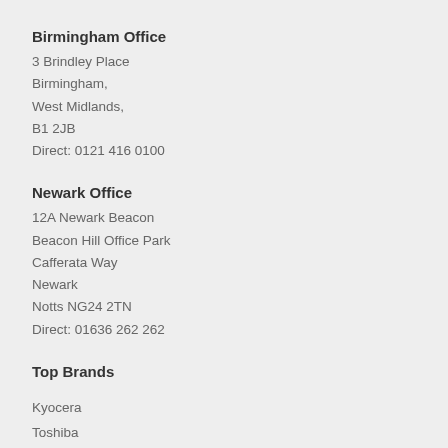Birmingham Office
3 Brindley Place
Birmingham,
West Midlands,
B1 2JB
Direct: 0121 416 0100
Newark Office
12A Newark Beacon
Beacon Hill Office Park
Cafferata Way
Newark
Notts NG24 2TN
Direct: 01636 262 262
Top Brands
Kyocera
Toshiba
Ricoh
Sharp